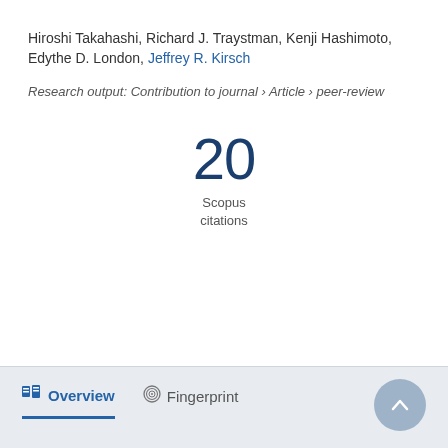Hiroshi Takahashi, Richard J. Traystman, Kenji Hashimoto, Edythe D. London, Jeffrey R. Kirsch
Research output: Contribution to journal › Article › peer-review
20
Scopus
citations
Overview   Fingerprint